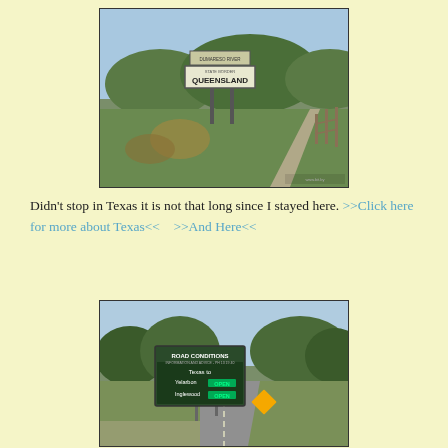[Figure (photo): Road sign reading 'DUMARESO RIVER STATE BORDER QUEENSLAND' on a post beside a rural road with green grass, trees, and hills in the background.]
Didn't stop in Texas it is not that long since I stayed here. >>Click here for more about Texas<<    >>And Here<<
[Figure (photo): Road conditions sign reading 'ROAD CONDITIONS - Texas to Yelarbon OPEN - Inglewood OPEN' beside a straight rural highway with trees on both sides.]